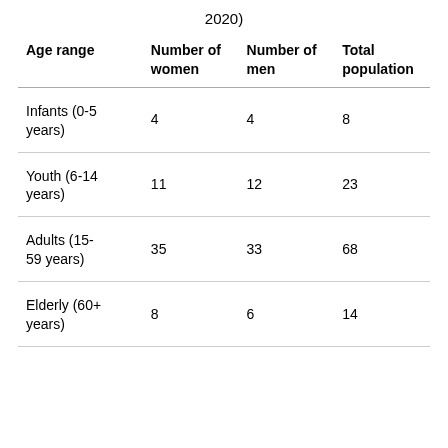2020)
| Age range | Number of women | Number of men | Total population |
| --- | --- | --- | --- |
| Infants (0-5 years) | 4 | 4 | 8 |
| Youth (6-14 years) | 11 | 12 | 23 |
| Adults (15-59 years) | 35 | 33 | 68 |
| Elderly (60+ years) | 8 | 6 | 14 |